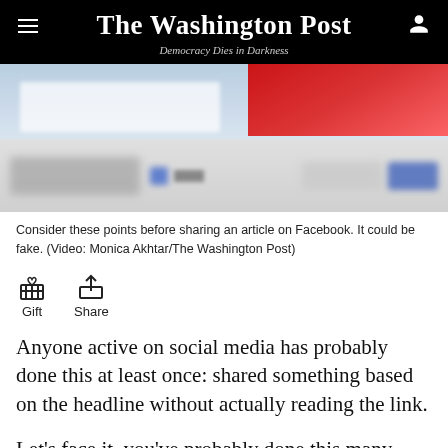The Washington Post — Democracy Dies in Darkness
[Figure (screenshot): Blurred/pixelated screenshot of a Facebook article sharing interface with a red element in upper right]
Consider these points before sharing an article on Facebook. It could be fake. (Video: Monica Akhtar/The Washington Post)
[Figure (infographic): Gift and Share icons with labels]
Anyone active on social media has probably done this at least once: shared something based on the headline without actually reading the link.
Let's face it, you've probably done this many times. According to a study released in June by computer